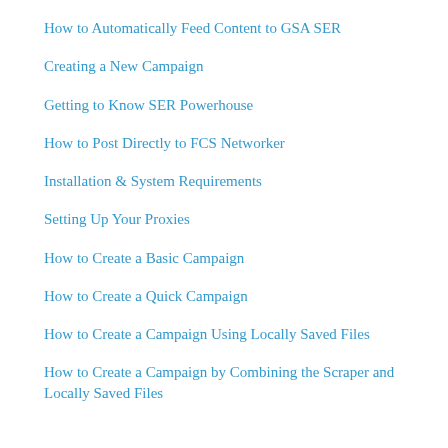How to Automatically Feed Content to GSA SER
Creating a New Campaign
Getting to Know SER Powerhouse
How to Post Directly to FCS Networker
Installation & System Requirements
Setting Up Your Proxies
How to Create a Basic Campaign
How to Create a Quick Campaign
How to Create a Campaign Using Locally Saved Files
How to Create a Campaign by Combining the Scraper and Locally Saved Files
Categories
All About SEO (4)